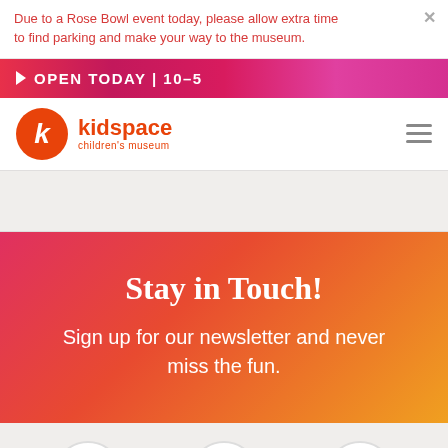Due to a Rose Bowl event today, please allow extra time to find parking and make your way to the museum.
OPEN TODAY | 10–5
[Figure (logo): Kidspace Children's Museum logo with orange circle containing a white italic k, and orange text reading 'kidspace children's museum']
Stay in Touch!
Sign up for our newsletter and never miss the fun.
[Figure (infographic): Three circular icon buttons at the bottom: location pin, ticket/barcode, and calendar icons in red on white circles with gray borders]